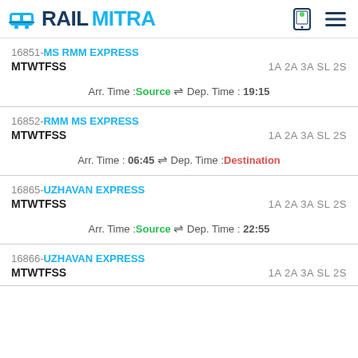RAILMITRA
16851-MS RMM EXPRESS | MTWTFSS | 1A 2A 3A SL 2S | Arr. Time: Source ⇌ Dep. Time: 19:15
16852-RMM MS EXPRESS | MTWTFSS | 1A 2A 3A SL 2S | Arr. Time: 06:45 ⇌ Dep. Time: Destination
16865-UZHAVAN EXPRESS | MTWTFSS | 1A 2A 3A SL 2S | Arr. Time: Source ⇌ Dep. Time: 22:55
16866-UZHAVAN EXPRESS | MTWTFSS | 1A 2A 3A SL 2S